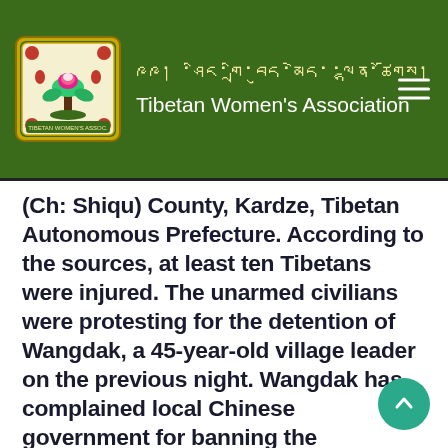Tibetan Women's Association
(Ch: Shiqu) County, Kardze, Tibetan Autonomous Prefecture. According to the sources, at least ten Tibetans were injured. The unarmed civilians were protesting for the detention of Wangdak, a 45-year-old village leader on the previous night. Wangdak has complained local Chinese government for banning the observance of the Denma Horse Festival. Wangdak argued that the celebration of the festival is a part of Tibetan